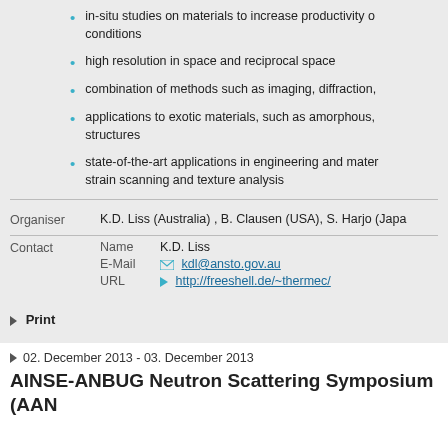in-situ studies on materials to increase productivity on conditions
high resolution in space and reciprocal space
combination of methods such as imaging, diffraction,
applications to exotic materials, such as amorphous, structures
state-of-the-art applications in engineering and mater... strain scanning and texture analysis
Organiser: K.D. Liss (Australia) , B. Clausen (USA), S. Harjo (Japan)
Contact Name: K.D. Liss E-Mail: kdl@ansto.gov.au URL: http://freeshell.de/~thermec/
Print
02. December 2013 - 03. December 2013
AINSE-ANBUG Neutron Scattering Symposium (AAN